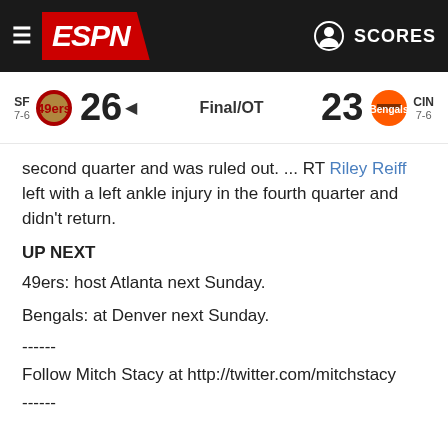ESPN - SF 26 Final/OT 23 CIN
second quarter and was ruled out. ... RT Riley Reiff left with a left ankle injury in the fourth quarter and didn't return.
UP NEXT
49ers: host Atlanta next Sunday.
Bengals: at Denver next Sunday.
------
Follow Mitch Stacy at http://twitter.com/mitchstacy
------